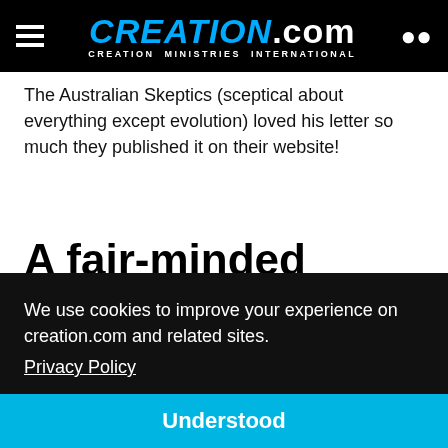CREATION.com — CREATION MINISTRIES INTERNATIONAL
The Australian Skeptics (sceptical about everything except evolution) loved his letter so much they published it on their website!
A fair-minded critic? Not on your life!
We use cookies to improve your experience on creation.com and related sites.
Privacy Policy
Understood
...and ...e his ...n very quickly turned to the book Telling Lies For God, which